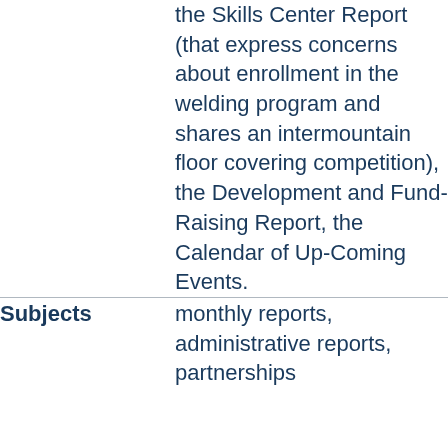the Skills Center Report (that express concerns about enrollment in the welding program and shares an intermountain floor covering competition), the Development and Fund-Raising Report, the Calendar of Up-Coming Events.
|  |  |
| --- | --- |
| Subjects | monthly reports, administrative reports, partnerships |